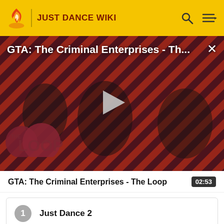JUST DANCE WIKI
[Figure (screenshot): Video thumbnail for GTA: The Criminal Enterprises - The Loop showing game characters on a red diagonal striped background with The Loop logo and a play button overlay]
GTA: The Criminal Enterprises - Th...
GTA: The Criminal Enterprises - The Loop  02:53
1  Just Dance 2